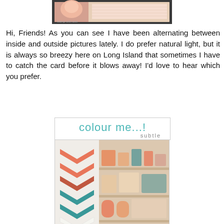[Figure (photo): Top portion of a handmade greeting card photo on dark background]
Hi, Friends! As you can see I have been alternating between inside and outside pictures lately. I do prefer natural light, but it is always so breezy here on Long Island that sometimes I have to catch the card before it blows away! I'd love to hear which you prefer.
[Figure (infographic): colour me...! subtle logo with color palette image showing coral/teal chevron pattern and vintage dishes on shelves]